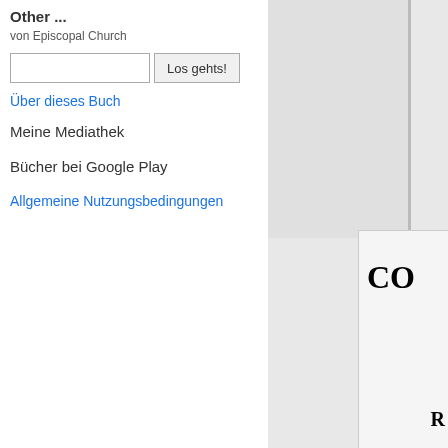Other ...
von Episcopal Church
Los gehts!
Über dieses Buch
Meine Mediathek
Bücher bei Google Play
Allgemeine Nutzungsbedingungen
[Figure (screenshot): Right side shows a grey panel with a partially visible book page displaying large bold text 'CO' and below it 'R']